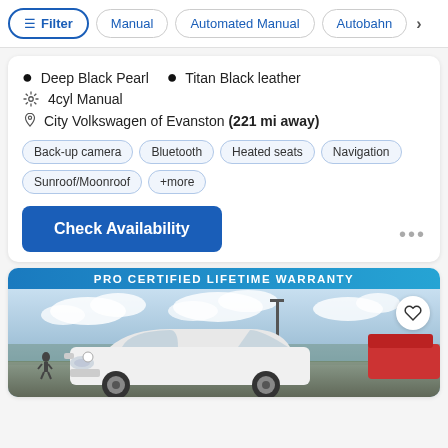Filter | Manual | Automated Manual | Autobahn
Deep Black Pearl  •  Titan Black leather
4cyl Manual
City Volkswagen of Evanston (221 mi away)
Back-up camera  Bluetooth  Heated seats  Navigation  Sunroof/Moonroof  +more
Check Availability
[Figure (photo): White Volkswagen Golf parked in a lot, shot from front-right angle. Background shows cloudy sky, a lamp post, and other vehicles. Blue banner at top reads PRO CERTIFIED LIFETIME WARRANTY. Heart/favorite icon in top-right corner.]